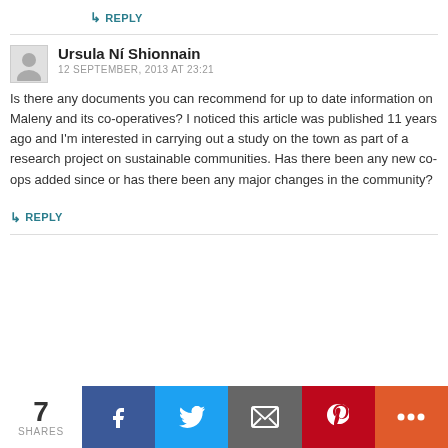↳ REPLY
Ursula Ní Shionnain
12 SEPTEMBER, 2013 AT 23:21
Is there any documents you can recommend for up to date information on Maleny and its co-operatives? I noticed this article was published 11 years ago and I'm interested in carrying out a study on the town as part of a research project on sustainable communities. Has there been any new co-ops added since or has there been any major changes in the community?
↳ REPLY
7 SHARES | Facebook | Twitter | Email | Pinterest | More